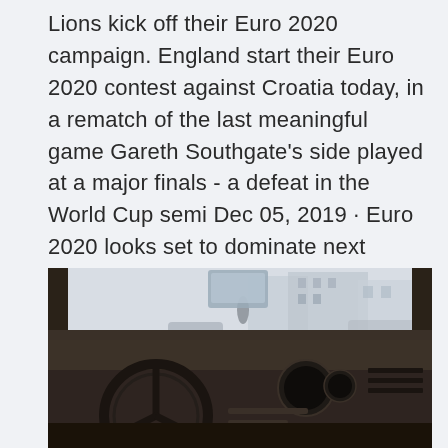Lions kick off their Euro 2020 campaign. England start their Euro 2020 contest against Croatia today, in a rematch of the last meaningful game Gareth Southgate's side played at a major finals - a defeat in the World Cup semi Dec 05, 2019 · Euro 2020 looks set to dominate next summer with so many matches being played in Britain and Ireland and the involvement of England, Wales and hopefully more home nations.
[Figure (photo): Interior view of a vintage car from the driver's perspective, showing the steering wheel, dashboard, and view through the windshield to a blurred street scene with buildings.]